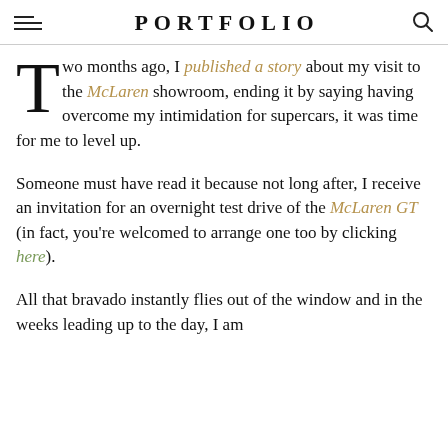PORTFOLIO
Two months ago, I published a story about my visit to the McLaren showroom, ending it by saying having overcome my intimidation for supercars, it was time for me to level up.
Someone must have read it because not long after, I receive an invitation for an overnight test drive of the McLaren GT (in fact, you're welcomed to arrange one too by clicking here).
All that bravado instantly flies out of the window and in the weeks leading up to the day, I am